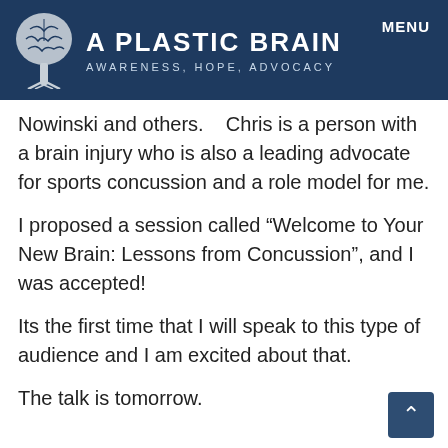A PLASTIC BRAIN
AWARENESS, HOPE, ADVOCACY
MENU
Nowinski and others.    Chris is a person with a brain injury who is also a leading advocate for sports concussion and a role model for me.
I proposed a session called “Welcome to Your New Brain: Lessons from Concussion”, and I was accepted!
Its the first time that I will speak to this type of audience and I am excited about that.
The talk is tomorrow.